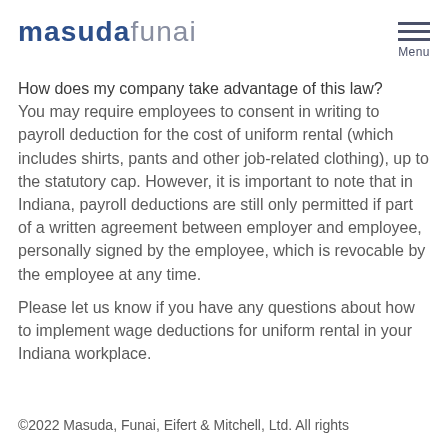masudafunai
How does my company take advantage of this law?
You may require employees to consent in writing to payroll deduction for the cost of uniform rental (which includes shirts, pants and other job-related clothing), up to the statutory cap. However, it is important to note that in Indiana, payroll deductions are still only permitted if part of a written agreement between employer and employee, personally signed by the employee, which is revocable by the employee at any time.
Please let us know if you have any questions about how to implement wage deductions for uniform rental in your Indiana workplace.
©2022 Masuda, Funai, Eifert & Mitchell, Ltd. All rights